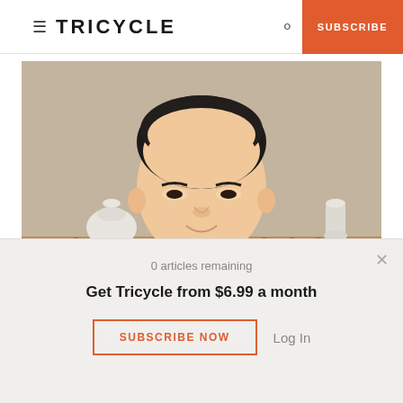≡ TRICYCLE  🔍  SUBSCRIBE
[Figure (photo): Portrait photo of a person with short dark hair, wearing white and brown/tan robes, smiling, with white ceramic vessels visible in the blurred background.]
0 articles remaining
Get Tricycle from $6.99 a month
SUBSCRIBE NOW
Log In